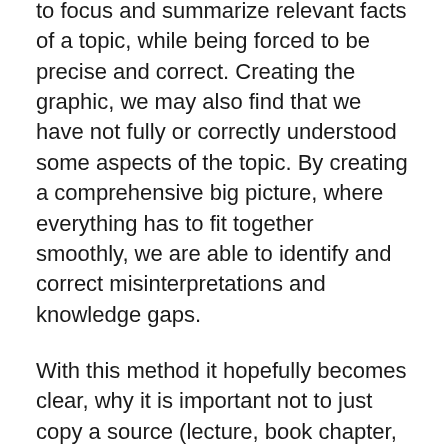to focus and summarize relevant facts of a topic, while being forced to be precise and correct. Creating the graphic, we may also find that we have not fully or correctly understood some aspects of the topic. By creating a comprehensive big picture, where everything has to fit together smoothly, we are able to identify and correct misinterpretations and knowledge gaps.
With this method it hopefully becomes clear, why it is important not to just copy a source (lecture, book chapter, Wikipedia entry) 1:1 into the network. We only have a personal benefit, also in terms of learning, if we summarize and review any inflowing information and express it in our own words. The resulting note reflects our personal and so far understanding of the underlying topic. It is also a representation of knowledge, that is “digested” according to the way we think, which makes the retrieval of information faster and easier. We won’t achieve these benefits if we just save entire Wikipedia or scanned book